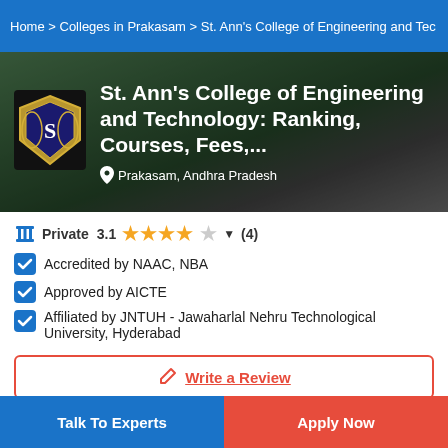Home > Colleges in Prakasam > St. Ann's College of Engineering and Tec
St. Ann's College of Engineering and Technology: Ranking, Courses, Fees,...
Prakasam, Andhra Pradesh
Private  3.1  ★★★★☆  ▼  (4)
Accredited by NAAC, NBA
Approved by AICTE
Affiliated by JNTUH - Jawaharlal Nehru Technological University, Hyderabad
Write a Review
Advertisement
Talk To Experts
Apply Now